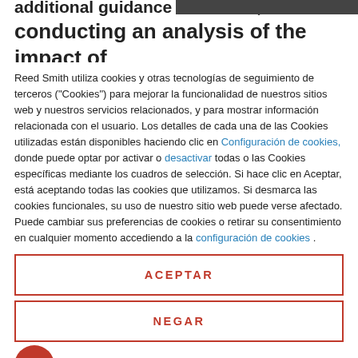additional guidance to lenders, and conducting an analysis of the impact of
Reed Smith utiliza cookies y otras tecnologías de seguimiento de terceros ("Cookies") para mejorar la funcionalidad de nuestros sitios web y nuestros servicios relacionados, y para mostrar información relacionada con el usuario. Los detalles de cada una de las Cookies utilizadas están disponibles haciendo clic en Configuración de cookies, donde puede optar por activar o desactivar todas o las Cookies específicas mediante los cuadros de selección. Si hace clic en Aceptar, está aceptando todas las cookies que utilizamos. Si desmarca las cookies funcionales, su uso de nuestro sitio web puede verse afectado. Puede cambiar sus preferencias de cookies o retirar su consentimiento en cualquier momento accediendo a la configuración de cookies .
ACEPTAR
NEGAR
Powered by usercentrics